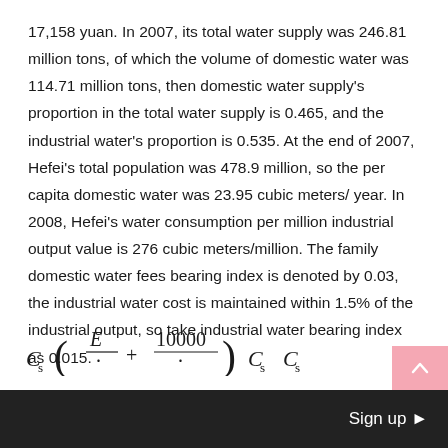17,158 yuan. In 2007, its total water supply was 246.81 million tons, of which the volume of domestic water was 114.71 million tons, then domestic water supply's proportion in the total water supply is 0.465, and the industrial water's proportion is 0.535. At the end of 2007, Hefei's total population was 478.9 million, so the per capita domestic water was 23.95 cubic meters/ year. In 2008, Hefei's water consumption per million industrial output value is 276 cubic meters/million. The family domestic water fees bearing index is denoted by 0.03, the industrial water cost is maintained within 1.5% of the industrial output, so take industrial water bearing index as 0.015.
The upper limit of water resource price is:
Sign up ▶